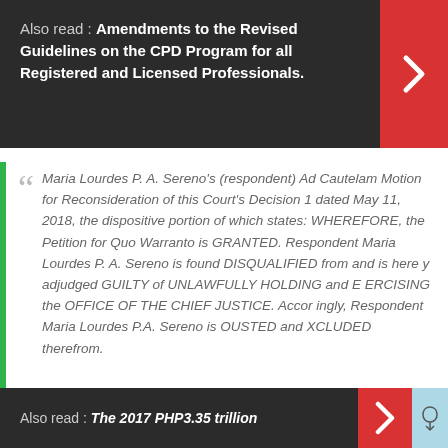Also read : Amendments to the Revised Guidelines on the CPD Program for all Registered and Licensed Professionals.
Maria Lourdes P. A. Sereno's (respondent) Ad Cautelam Motion for Reconsideration of this Court's Decision 1 dated May 11, 2018, the dispositive portion of which states: WHEREFORE, the Petition for Quo Warranto is GRANTED. Respondent Maria Lourdes P. A. Sereno is found DISQUALIFIED from and is here y adjudged GUILTY of UNLAWFULLY HOLDING and E ERCISING the OFFICE OF THE CHIEF JUSTICE. Accor ingly, Respondent Maria Lourdes P.A. Sereno is OUSTED and XCLUDED therefrom.
Also read : The 2017 PHP3.35 trillion